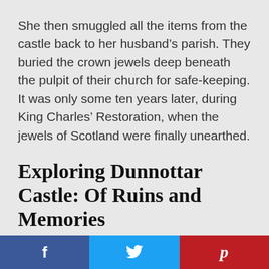She then smuggled all the items from the castle back to her husband's parish. They buried the crown jewels deep beneath the pulpit of their church for safe-keeping. It was only some ten years later, during King Charles' Restoration, when the jewels of Scotland were finally unearthed.
Exploring Dunnottar Castle: Of Ruins and Memories
[Figure (infographic): Social sharing bar with Facebook (blue), Twitter (light blue), and Pinterest (red) buttons]